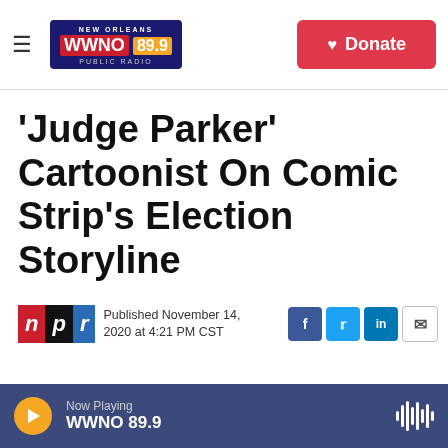NEW ORLEANS WWNO 89.9 PUBLIC RADIO | Donate
'Judge Parker' Cartoonist On Comic Strip's Election Storyline
Published November 14, 2020 at 4:21 PM CST
LISTEN • 5:10
Now Playing WWNO 89.9